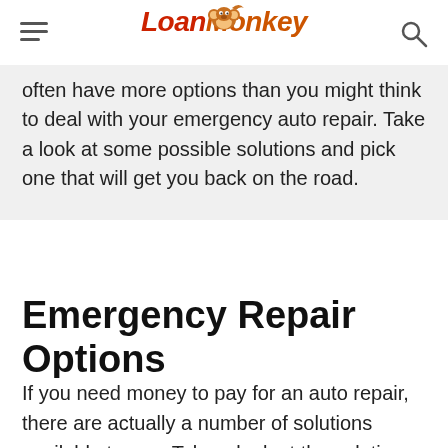LoanMonkey
often have more options than you might think to deal with your emergency auto repair. Take a look at some possible solutions and pick one that will get you back on the road.
Emergency Repair Options
If you need money to pay for an auto repair, there are actually a number of solutions available to you. Take a look at the solutions